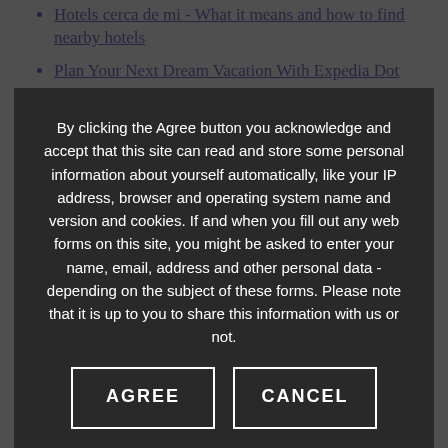Hotels cerca de mi - What it means and how to find nearby hotels
Plan Your Next Dream Vacation With Expedia Dot Com
By clicking the Agree button you acknowledge and accept that this site can read and store some personal information about yourself automatically, like your IP address, browser and operating system name and version and cookies. If and when you fill out any web forms on this site, you might be asked to enter your name, email, address and other personal data - depending on the subject of these forms. Please note that it is up to you to share this information with us or not.
How to Get a Free Carry-on with Ryanair